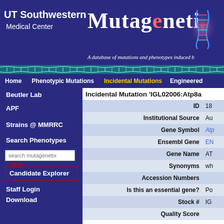[Figure (screenshot): UT Southwestern Medical Center logo in white text on dark blue background]
Mutagenetix
A database of mutations and phenotypes induced b
Home | Phenotypic Mutations | Incidental Mutations | Engineered
Beutler Lab
APF
Strains @ MMRRC
Search Phenotypes
search mutagenetix
NEW Candidate Explorer
Staff Login
Download
Incidental Mutation 'IGL02006:Atp8a
| Field | Value |
| --- | --- |
| ID | 18 |
| Institutional Source | Au |
| Gene Symbol | Atp |
| Ensembl Gene | EN |
| Gene Name | AT |
| Synonyms | wh |
| Accession Numbers |  |
| Is this an essential gene? | Po |
| Stock # | IG |
| Quality Score |  |